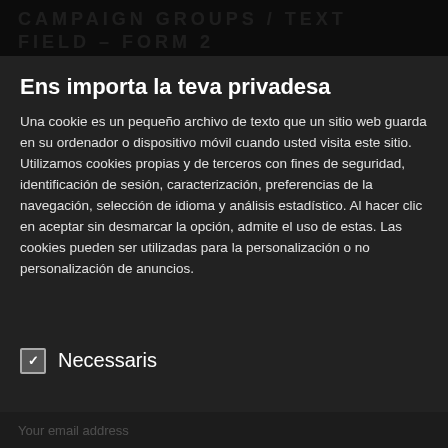CAMPAIGN GROUPS / TEXTFIELD – FORM 2
Ens importa la teva privadesa
Una cookie es un pequeño archivo de texto que un sitio web guarda en su ordenador o dispositivo móvil cuando usted visita este sitio. Utilizamos cookies propias y de terceros con fines de seguridad, identificación de sesión, caracterización, preferencias de la navegación, selección de idioma y análisis estadístico. Al hacer clic en aceptar sin desmarcar la opción, admite el uso de estas. Las cookies pueden ser utilizadas para la personalización o no personalización de anuncios.
Necessaris
Galetes de tercers
Acceptar selecció
Acceptar